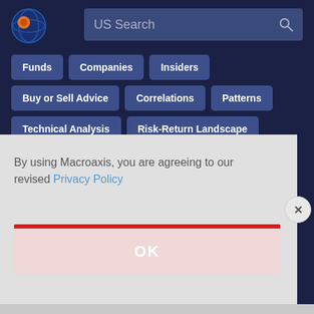[Figure (logo): Macroaxis globe logo with orange and blue colors]
US Search
Funds
Companies
Insiders
Buy or Sell Advice
Correlations
Patterns
Technical Analysis
Risk-Return Landscape
Investing Ideas
Portfolio Center
By using Macroaxis, you are agreeing to our revised Privacy Policy
OK